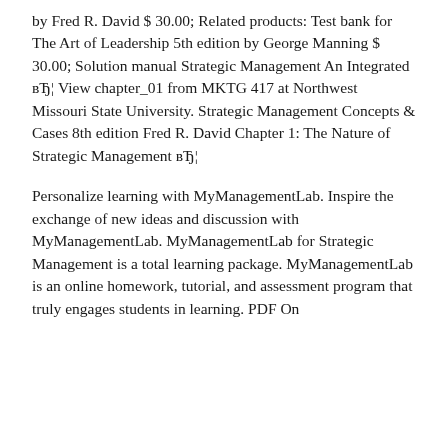by Fred R. David $ 30.00; Related products: Test bank for The Art of Leadership 5th edition by George Manning $ 30.00; Solution manual Strategic Management An Integrated вЂ¦ View chapter_01 from MKTG 417 at Northwest Missouri State University. Strategic Management Concepts & Cases 8th edition Fred R. David Chapter 1: The Nature of Strategic Management вЂ¦
Personalize learning with MyManagementLab. Inspire the exchange of new ideas and discussion with MyManagementLab. MyManagementLab for Strategic Management is a total learning package. MyManagementLab is an online homework, tutorial, and assessment program that truly engages students in learning. PDF On